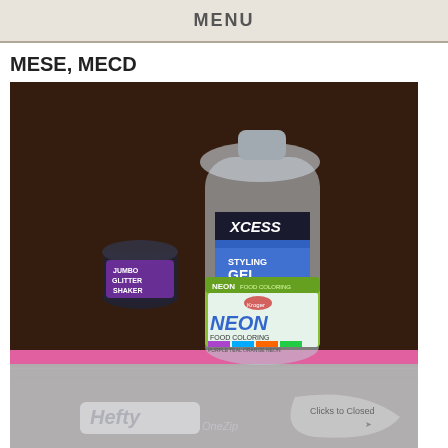MENU
MESE, MECD
[Figure (photo): Photo showing a large clear bottle of XCESS Styling Gel (Sport Hold), a small jar of Jumbo Glitter Shaker with purple label, a green box of Neon Food Coloring (Kroger brand), and a Hefty One-Zip storage bag with pink zipper in the foreground, all placed on a dark wooden table surface.]